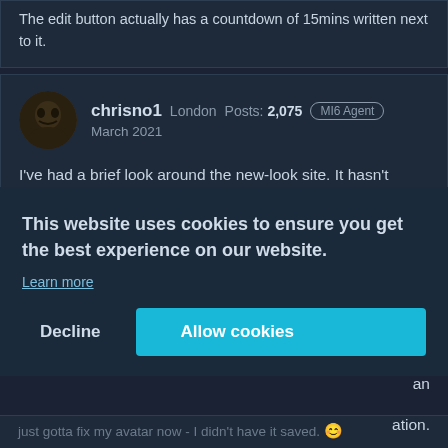The edit button actually has a countdown of 15mins written next to it.
chrisno1  London  Posts: 2,075  MI6 Agent
March 2021
I've had a brief look around the new-look site. It hasn't changed much and I'm sure I'll get used to it fairly sharpish.

Just want to say thanks to Si for ensuring AJB has retained everything and not archived or closed threads etc as some [... life ... for a ... an ...] ation. sure.
This website uses cookies to ensure you get the best experience on our website.
Learn more
Decline
Allow cookies
just gotta fix my avatar now - I didn't have it saved. 😊